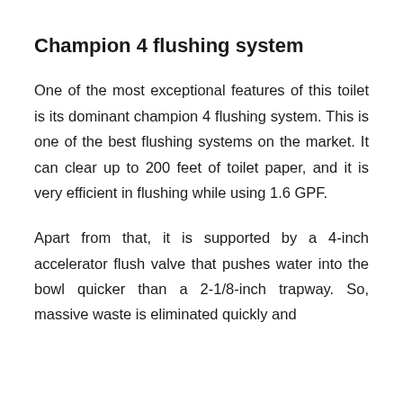Champion 4 flushing system
One of the most exceptional features of this toilet is its dominant champion 4 flushing system. This is one of the best flushing systems on the market. It can clear up to 200 feet of toilet paper, and it is very efficient in flushing while using 1.6 GPF.
Apart from that, it is supported by a 4-inch accelerator flush valve that pushes water into the bowl quicker than a 2-1/8-inch trapway. So, massive waste is eliminated quickly and